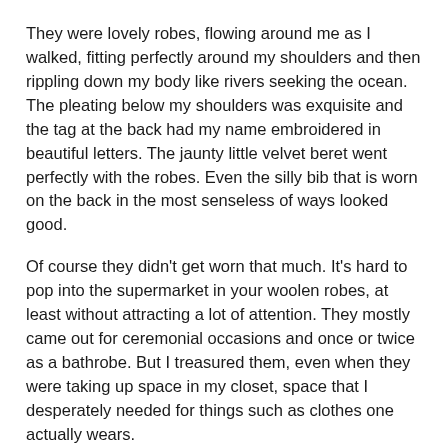They were lovely robes, flowing around me as I walked, fitting perfectly around my shoulders and then rippling down my body like rivers seeking the ocean. The pleating below my shoulders was exquisite and the tag at the back had my name embroidered in beautiful letters. The jaunty little velvet beret went perfectly with the robes. Even the silly bib that is worn on the back in the most senseless of ways looked good.
Of course they didn't get worn that much. It's hard to pop into the supermarket in your woolen robes, at least without attracting a lot of attention. They mostly came out for ceremonial occasions and once or twice as a bathrobe. But I treasured them, even when they were taking up space in my closet, space that I desperately needed for things such as clothes one actually wears.
I treasured them because they were pretty much all I ever got from four incredibly painful years of studying economics. The robes and those little letters after my name: Echidne of the snakes, PhD. Something to show to those who doubted